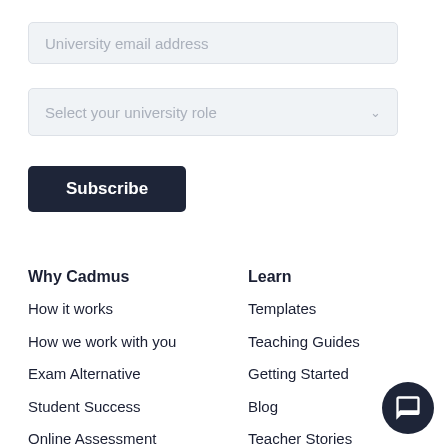University email address
Select your university role
Subscribe
Why Cadmus
How it works
How we work with you
Exam Alternative
Student Success
Online Assessment
Learn
Templates
Teaching Guides
Getting Started
Blog
Teacher Stories
Help Docs